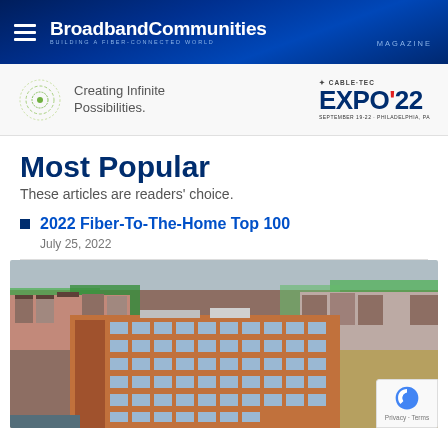BroadbandCommunities Magazine — Building a Fiber-Connected World
[Figure (screenshot): Cable-Tec EXPO '22 advertisement banner — Creating Infinite Possibilities. September 19-22, Philadelphia, PA]
Most Popular
These articles are readers' choice.
2022 Fiber-To-The-Home Top 100
July 25, 2022
[Figure (photo): Aerial view of a brick apartment complex surrounded by urban rowhouses and trees]